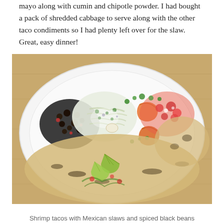mayo along with cumin and chipotle powder. I had bought a pack of shredded cabbage to serve along with the other taco condiments so I had plenty left over for the slaw. Great, easy dinner!
[Figure (photo): A white plate containing shrimp tacos with Mexican slaw and spiced black beans, served on a wooden table. The plate includes grilled shrimp, coleslaw with herbs, black beans with diced vegetables, tortillas, lime wedges, fresh cilantro, and pico de gallo.]
Shrimp tacos with Mexican slaws and spiced black beans